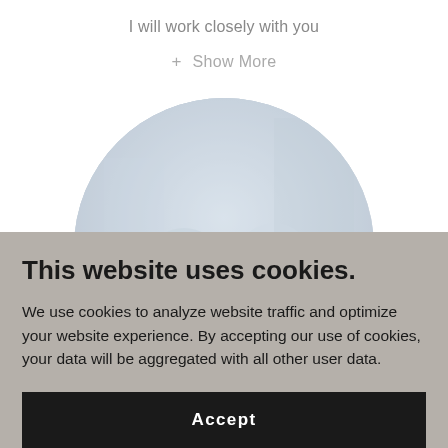I will work closely with you
+ Show More
[Figure (photo): Circular cropped photo of a person wearing a light blue/white coat or shirt, blurred background suggesting a medical or professional setting.]
This website uses cookies.
We use cookies to analyze website traffic and optimize your website experience. By accepting our use of cookies, your data will be aggregated with all other user data.
Accept